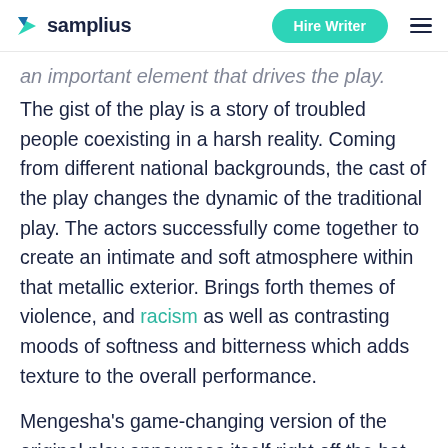samplius | Hire Writer
an important element that drives the play.
The gist of the play is a story of troubled people coexisting in a harsh reality. Coming from different national backgrounds, the cast of the play changes the dynamic of the traditional play. The actors successfully come together to create an intimate and soft atmosphere within that metallic exterior. Brings forth themes of violence, and racism as well as contrasting moods of softness and bitterness which adds texture to the overall performance.
Mengesha's game-changing version of the original play announces itself right off the bat. While the stage remains empty, the play kicks off by drawing the audience right in, both by introducing an inclusive cast and foreshadowing Blanche Dubois's (Amy Rutherford) [continues below]